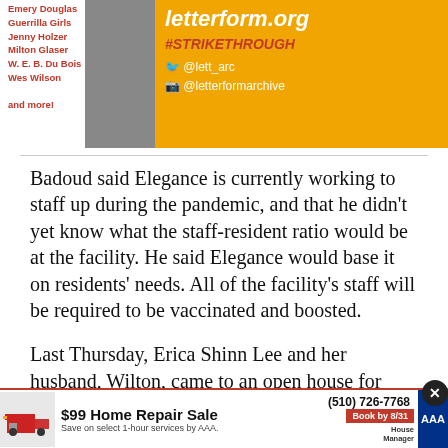[Figure (infographic): Orange advertisement banner for letterform archive with social media handles @lett_arc and @letterformarchive, hashtag #STRIKETHROUGH, list of artist names on left side, and a grayscale photo of a person in the middle]
Badoud said Elegance is currently working to staff up during the pandemic, and that he didn't yet know what the staff-resident ratio would be at the facility. He said Elegance would base it on residents' needs. All of the facility's staff will be required to be vaccinated and boosted.
Last Thursday, Erica Shinn Lee and her husband, Wilton, came to an open house for Elegance held at a leasing office across the street from the building.
[Figure (infographic): $99 Home Repair Sale advertisement banner by AAA with phone number (510) 726-7768, Book by 8/31 button, and House Manager logo]